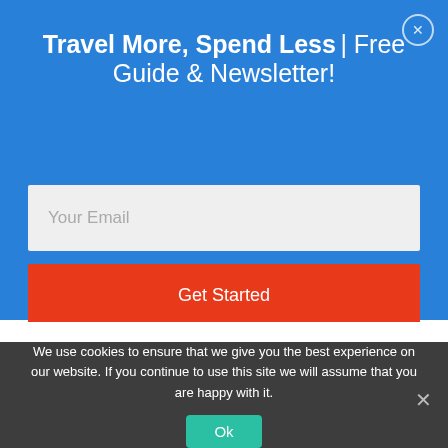Travel More, Spend Less | Free Guide & Newsletter!
[Figure (screenshot): Email input field with placeholder text 'Your Email']
[Figure (screenshot): Red 'Get Started' button]
miles and 50,000 Citi Thank you points! Well worth all the trips to Wal Mart!
We use cookies to ensure that we give you the best experience on our website. If you continue to use this site we will assume that you are happy with it.